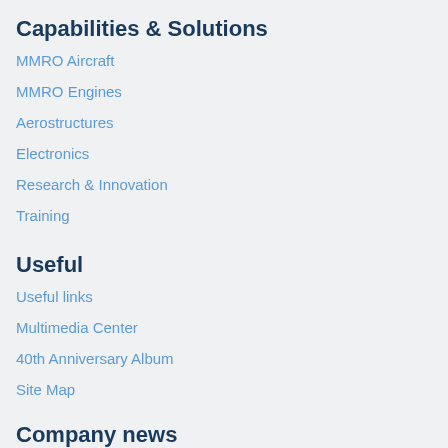Capabilities & Solutions
MMRO Aircraft
MMRO Engines
Aerostructures
Electronics
Research & Innovation
Training
Useful
Useful links
Multimedia Center
40th Anniversary Album
Site Map
Company news